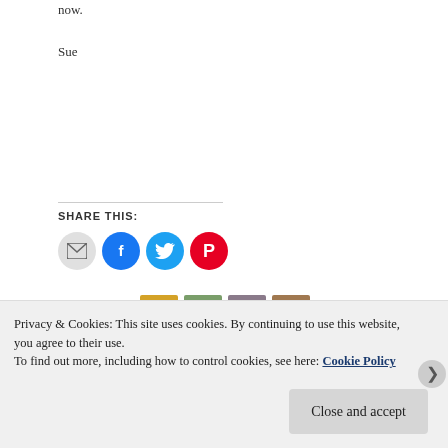now.
Sue
SHARE THIS:
[Figure (infographic): Social sharing icons: email (gray circle), Facebook (blue circle), Twitter (teal circle), Pinterest (red circle)]
[Figure (infographic): Like button and user avatars: Like button with star icon, followed by three user avatar thumbnails]
Privacy & Cookies: This site uses cookies. By continuing to use this website, you agree to their use.
To find out more, including how to control cookies, see here: Cookie Policy
Close and accept